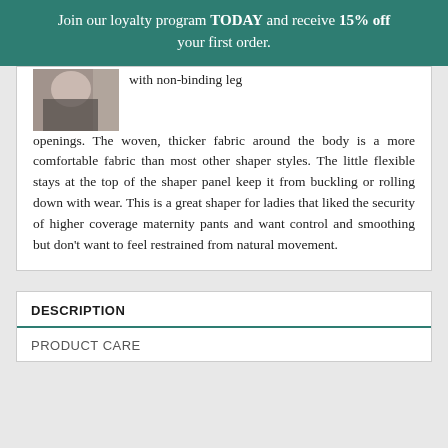Join our loyalty program TODAY and receive 15% off your first order.
[Figure (photo): Partial product image showing a person wearing a maternity shaper garment, cropped at top of content card]
with non-binding leg openings. The woven, thicker fabric around the body is a more comfortable fabric than most other shaper styles. The little flexible stays at the top of the shaper panel keep it from buckling or rolling down with wear. This is a great shaper for ladies that liked the security of higher coverage maternity pants and want control and smoothing but don't want to feel restrained from natural movement.
| DESCRIPTION | PRODUCT CARE |
| --- | --- |